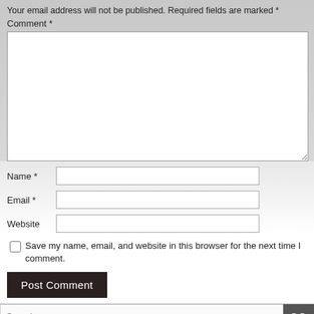Your email address will not be published. Required fields are marked *
Comment *
[Figure (other): Large comment textarea input box]
Name *
Email *
Website
Save my name, email, and website in this browser for the next time I comment.
Post Comment
Search ...
Recent Posts